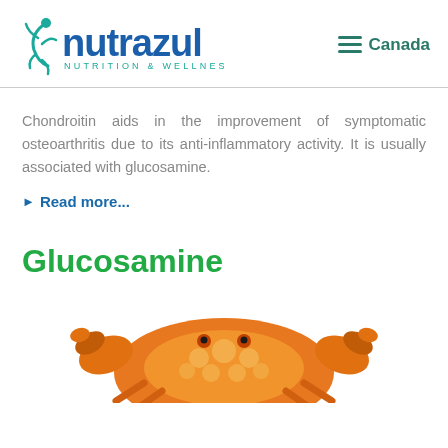[Figure (logo): Nutrazul Nutrition & Wellness logo with teal figure icon and blue/green text]
Canada (menu icon)
Chondroitin aids in the improvement of symptomatic osteoarthritis due to its anti-inflammatory activity. It is usually associated with glucosamine.
Read more...
Glucosamine
[Figure (photo): Orange/yellow crab illustration, partially visible at bottom of page]